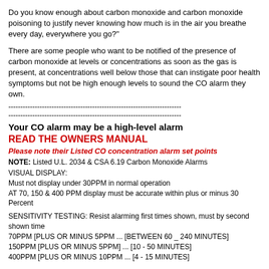Do you know enough about carbon monoxide and carbon monoxide poisoning to justify never knowing how much is in the air you breathe every day, everywhere you go?"
There are some people who want to be notified of the presence of carbon monoxide at levels or concentrations as soon as the gas is present, at concentrations well below those that can instigate poor health symptoms but not be high enough levels to sound the CO alarm they own.
------------------------------------------------------------------------
------------------------------------------------------------------------
Your CO alarm may be a high-level alarm
READ THE OWNERS MANUAL
Please note their Listed CO concentration alarm set points
NOTE: Listed U.L. 2034 & CSA 6.19 Carbon Monoxide Alarms VISUAL DISPLAY:
Must not display under 30PPM in normal operation
AT 70, 150 & 400 PPM display must be accurate within plus or minus 30 Percent
SENSITIVITY TESTING: Resist alarming first times shown, must by second shown time
70PPM [PLUS OR MINUS 5PPM ... [BETWEEN 60 _ 240 MINUTES]
150PPM [PLUS OR MINUS 5PPM] ... [10 - 50 MINUTES]
400PPM [PLUS OR MINUS 10PPM ... [4 - 15 MINUTES]